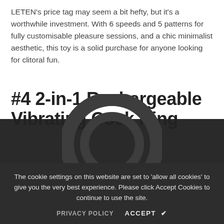LETEN's price tag may seem a bit hefty, but it's a worthwhile investment. With 6 speeds and 5 patterns for fully customisable pleasure sessions, and a chic minimalist aesthetic, this toy is a solid purchase for anyone looking for clitoral fun.
#4 2-in-1 Rechargeable Vibrating Cock Ring
The cookie settings on this website are set to 'allow all cookies' to give you the very best experience. Please click Accept Cookies to continue to use the site.